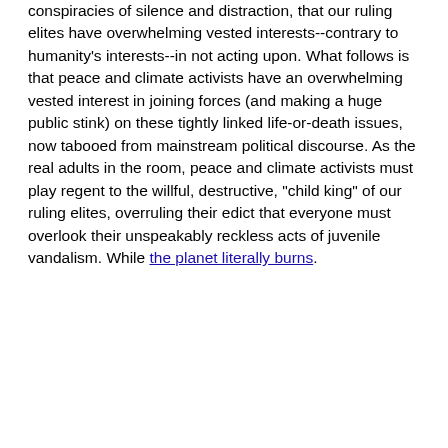conspiracies of silence and distraction, that our ruling elites have overwhelming vested interests--contrary to humanity's interests--in not acting upon. What follows is that peace and climate activists have an overwhelming vested interest in joining forces (and making a huge public stink) on these tightly linked life-or-death issues, now tabooed from mainstream political discourse. As the real adults in the room, peace and climate activists must play regent to the willful, destructive, "child king" of our ruling elites, overruling their edict that everyone must overlook their unspeakably reckless acts of juvenile vandalism. While the planet literally burns.